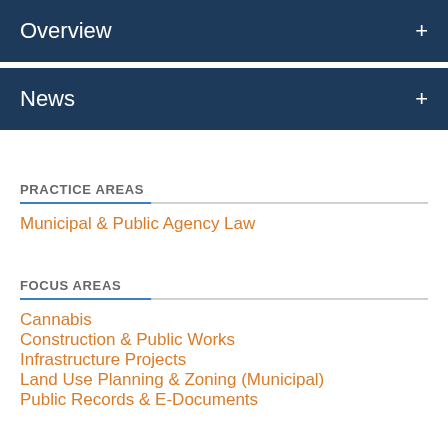Overview
News
PRACTICE AREAS
Municipal & Public Agency Law
FOCUS AREAS
Cannabis
Construction & Public Works
Infrastructure Projects
Land Use Planning & Zoning (Municipal)
Public Records & E-Documents